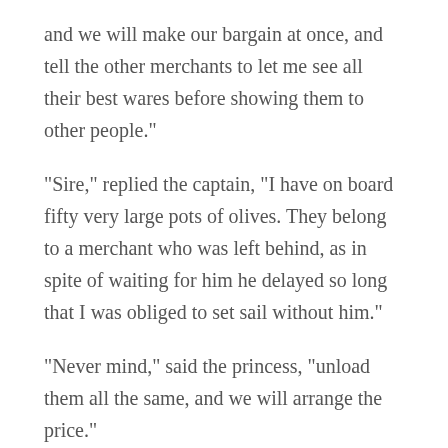and we will make our bargain at once, and tell the other merchants to let me see all their best wares before showing them to other people."
"Sire," replied the captain, "I have on board fifty very large pots of olives. They belong to a merchant who was left behind, as in spite of waiting for him he delayed so long that I was obliged to set sail without him."
"Never mind," said the princess, "unload them all the same, and we will arrange the price."
The captain accordingly sent his boat off to the ship and it soon returned laden with the fifty pots of olives. The princess asked what they might be worth.